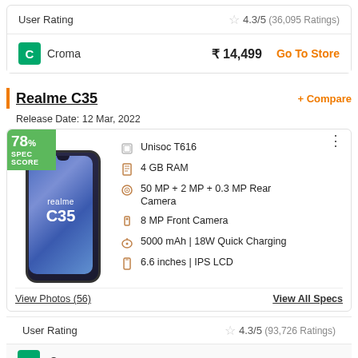| Label | Value |
| --- | --- |
| User Rating | 4.3/5 (36,095 Ratings) |
| Croma | ₹ 14,499 | Go To Store |
Realme C35
+ Compare
Release Date: 12 Mar, 2022
[Figure (photo): Realme C35 smartphone showing front screen with realme C35 branding, spec score badge 78% in top-left corner]
Unisoc T616
4 GB RAM
50 MP + 2 MP + 0.3 MP Rear Camera
8 MP Front Camera
5000 mAh | 18W Quick Charging
6.6 inches | IPS LCD
View Photos (56)
View All Specs
User Rating   4.3/5 (93,726 Ratings)
| Croma | ₹ 14,999 |